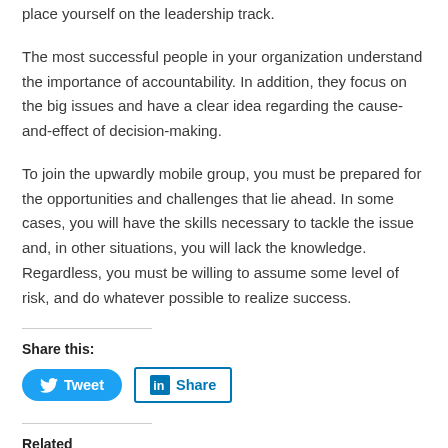place yourself on the leadership track.
The most successful people in your organization understand the importance of accountability. In addition, they focus on the big issues and have a clear idea regarding the cause-and-effect of decision-making.
To join the upwardly mobile group, you must be prepared for the opportunities and challenges that lie ahead. In some cases, you will have the skills necessary to tackle the issue and, in other situations, you will lack the knowledge. Regardless, you must be willing to assume some level of risk, and do whatever possible to realize success.
Share this:
[Figure (infographic): Tweet button (blue rounded) and LinkedIn Share button (white with blue border and LinkedIn logo)]
Related